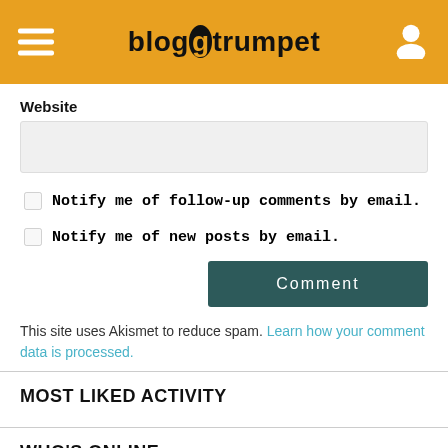blogtrumpet
Website
Notify me of follow-up comments by email.
Notify me of new posts by email.
Comment
This site uses Akismet to reduce spam. Learn how your comment data is processed.
MOST LIKED ACTIVITY
WHO'S ONLINE